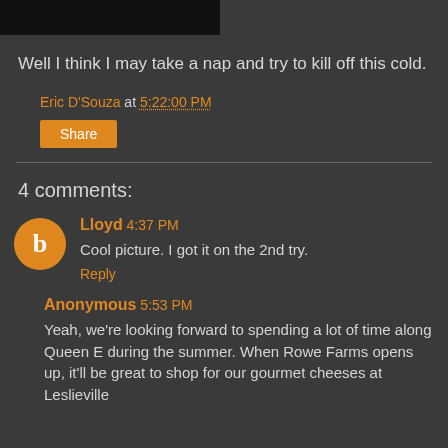[Figure (photo): Black bar/image cropped at top of page]
Well I think I may take a nap and try to kill off this cold.
Eric D'Souza at 5:22:00 PM
Share
4 comments:
Lloyd 4:37 PM
Cool picture. I got it on the 2nd try.
Reply
Anonymous 5:53 PM
Yeah, we're looking forward to spending a lot of time along Queen E during the summer. When Rowe Farms opens up, it'll be great to shop for our gourmet cheeses at Leslieville